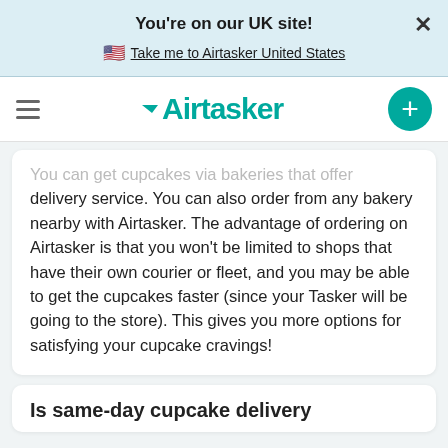You're on our UK site!
🇺🇸 Take me to Airtasker United States
[Figure (logo): Airtasker logo with hamburger menu and plus button]
You can get cupcakes via bakeries that offer delivery service. You can also order from any bakery nearby with Airtasker. The advantage of ordering on Airtasker is that you won't be limited to shops that have their own courier or fleet, and you may be able to get the cupcakes faster (since your Tasker will be going to the store). This gives you more options for satisfying your cupcake cravings!
Is same-day cupcake delivery